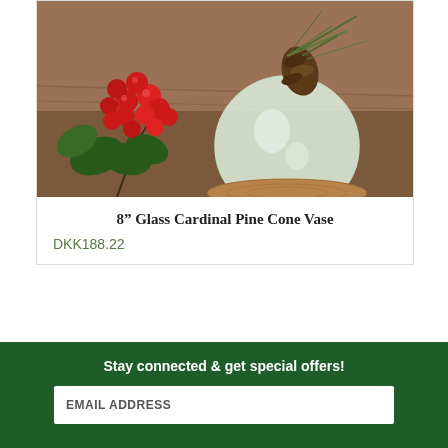[Figure (photo): A frosted glass vase with pine cone decoration on top, sitting on a wooden slice. Red berries and green leaves visible to the left. Brown rustic wooden background.]
8" Glass Cardinal Pine Cone Vase
DKK188.22
[Figure (infographic): Pagination dots: one active golden/tan dot followed by nine dark green dots]
Stay connected & get special offers!
EMAIL ADDRESS